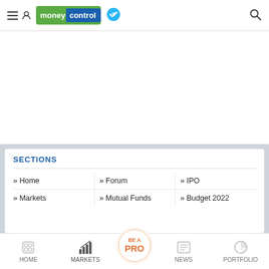moneycontrol header with navigation icons and search
SECTIONS
» Home
» Forum
» IPO
» Markets
» Mutual Funds
» Budget 2022
HOME | MARKETS | BE A PRO | NEWS | PORTFOLIO